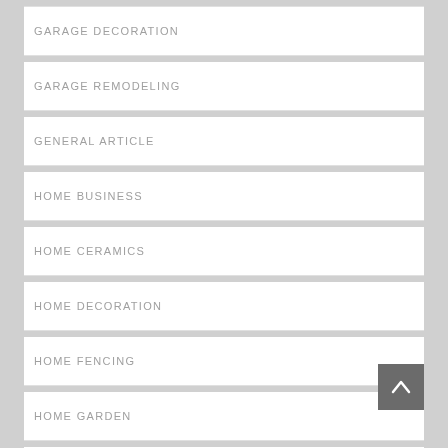GARAGE DECORATION
GARAGE REMODELING
GENERAL ARTICLE
HOME BUSINESS
HOME CERAMICS
HOME DECORATION
HOME FENCING
HOME GARDEN
HOME REFFERENCES